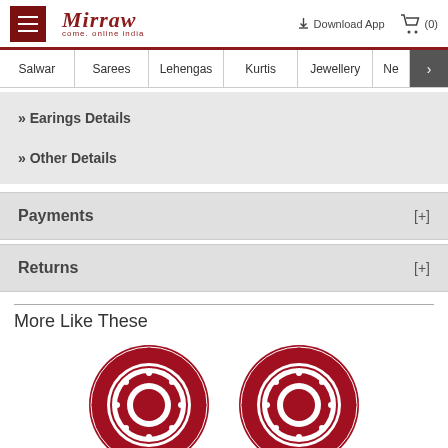Mirraw — Come, online India | Download App | Cart (0)
Salwar | Sarees | Lehengas | Kurtis | Jewellery | Ne
» Earings Details
» Other Details
Payments [+]
Returns [+]
More Like These
[Figure (illustration): Two circular earring product thumbnails with red floral mandala pattern on white background]